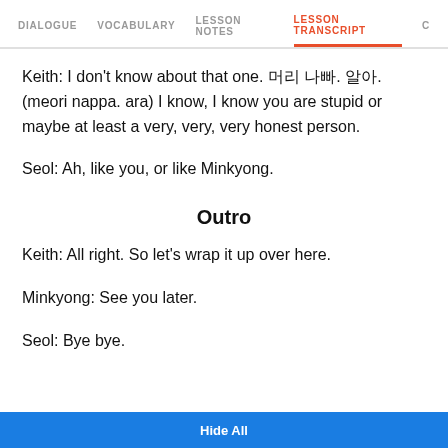DIALOGUE  VOCABULARY  LESSON NOTES  LESSON TRANSCRIPT  C
Keith: I don't know about that one. 머리 나빠. 알아. (meori nappa. ara) I know, I know you are stupid or maybe at least a very, very, very honest person.
Seol: Ah, like you, or like Minkyong.
Outro
Keith: All right. So let's wrap it up over here.
Minkyong: See you later.
Seol: Bye bye.